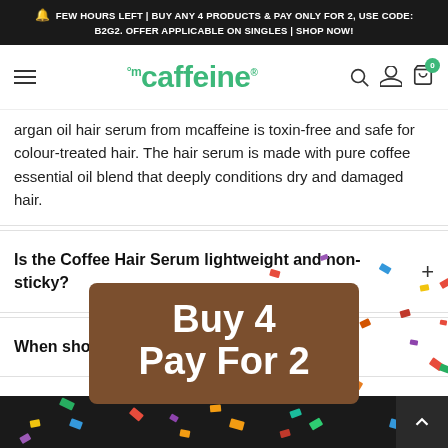FEW HOURS LEFT | BUY ANY 4 PRODUCTS & PAY ONLY FOR 2, USE CODE: B2G2. OFFER APPLICABLE ON SINGLES | SHOP NOW!
[Figure (logo): mCaffeine logo with hamburger menu, search, account and cart icons]
argan oil hair serum from mcaffeine is toxin-free and safe for colour-treated hair. The hair serum is made with pure coffee essential oil blend that deeply conditions dry and damaged hair.
Is the Coffee Hair Serum lightweight and non-sticky?
When should I use ... Serum?
[Figure (infographic): Buy 4 Pay For 2 promotional banner overlay with confetti]